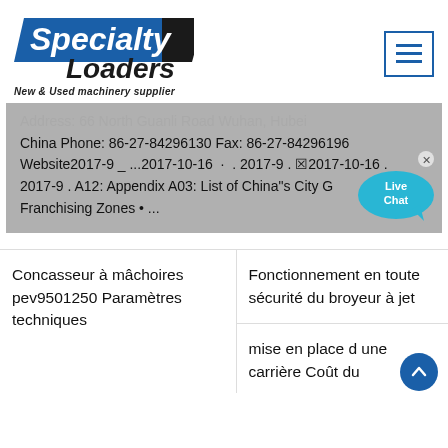[Figure (logo): Specialty Loaders logo with blue and black text on white background, tagline: New & Used machinery supplier]
Address: 66 North Guanli Road Wuhan, Hubei China Phone: 86-27-84296130 Fax: 86-27-84296196 Website2017-9 _ ...2017-10-16 · . 2017-9 . 2017-10-16 . 2017-9 . A12: Appendix A03: List of China"s City G Franchising Zones • ...
Concasseur à mâchoires pev9501250 Paramètres techniques
Fonctionnement en toute sécurité du broyeur à jet
mise en place d une carrière Coût du